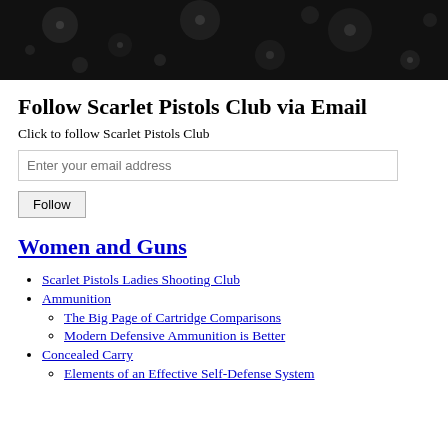[Figure (photo): Dark background image with faint bokeh/flare spots on a black surface, used as a website header banner.]
Follow Scarlet Pistols Club via Email
Click to follow Scarlet Pistols Club
Enter your email address
Follow
Women and Guns
Scarlet Pistols Ladies Shooting Club
Ammunition
The Big Page of Cartridge Comparisons
Modern Defensive Ammunition is Better
Concealed Carry
Elements of an Effective Self-Defense System